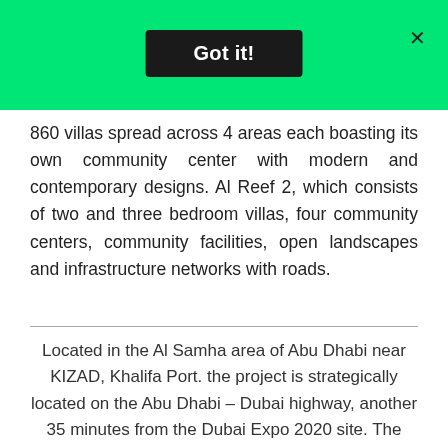[Figure (other): Green banner at top with a black 'Got it!' button centered, and an 'X' close button at top right]
860 villas spread across 4 areas each boasting its own community center with modern and contemporary designs. Al Reef 2, which consists of two and three bedroom villas, four community centers, community facilities, open landscapes and infrastructure networks with roads.
Located in the Al Samha area of Abu Dhabi near KIZAD, Khalifa Port. the project is strategically located on the Abu Dhabi – Dubai highway, another 35 minutes from the Dubai Expo 2020 site. The project will include several